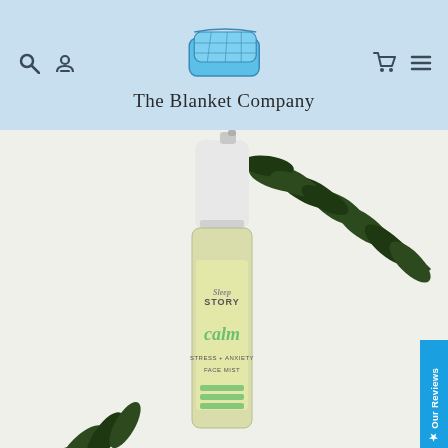[Figure (screenshot): Website header for The Blanket Company with light blue background, folded blue blanket logo illustration, brand name text, search icon, user icon, cart icon, and hamburger menu icon]
[Figure (photo): Product photo of SleepStory 'calm' Stress + Anxiety Face Mist bottle with white cap, surrounded by dark green leaves on a white background, with a blue 'Our Reviews' tab on the right side]